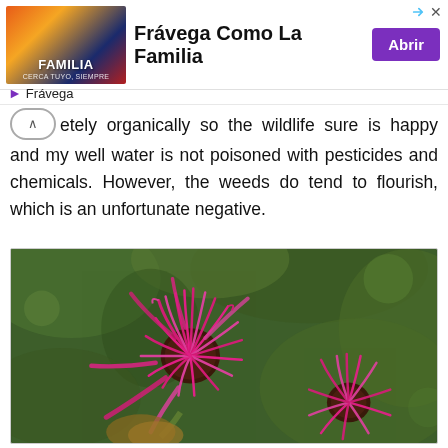[Figure (infographic): Advertisement banner for Fravega Como La Familia with product image on left, title text, and purple 'Abrir' button on right. Brand name Fravega shown below.]
etely organically so the wildlife sure is happy and my well water is not poisoned with pesticides and chemicals. However, the weeds do tend to flourish, which is an unfortunate negative.
[Figure (photo): Close-up photograph of bright pink/magenta bee balm (Monarda) flowers in bloom against a blurred green background.]